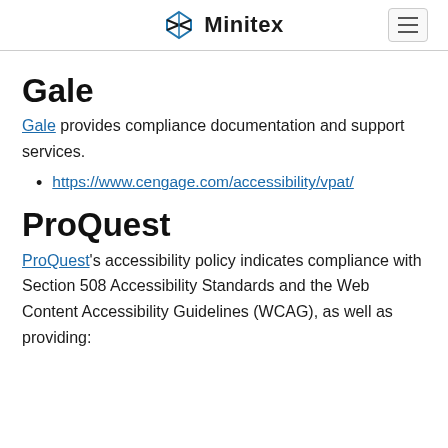Minitex (logo with hamburger menu)
Gale
Gale provides compliance documentation and support services.
https://www.cengage.com/accessibility/vpat/
ProQuest
ProQuest's accessibility policy indicates compliance with Section 508 Accessibility Standards and the Web Content Accessibility Guidelines (WCAG), as well as providing: